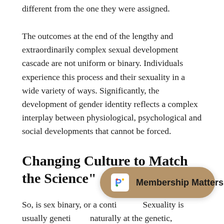different from the one they were assigned.
The outcomes at the end of the lengthy and extraordinarily complex sexual development cascade are not uniform or binary. Individuals experience this process and their sexuality in a wide variety of ways. Significantly, the development of gender identity reflects a complex interplay between physiological, psychological and social developments that cannot be forced.
Changing Culture to Match the Science"
So, is sex binary, or a conti… Sexuality is usually geneti… naturally at the genetic, epigenetic and functional levels.